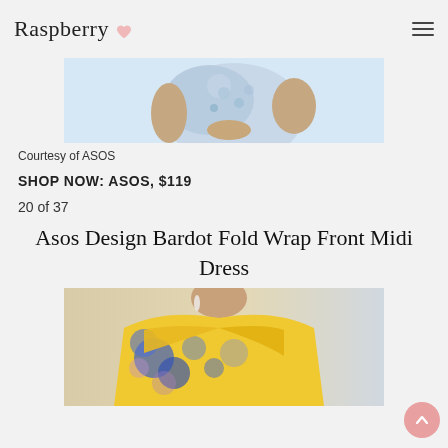Raspberry
[Figure (photo): Top portion of a woman wearing a light blue floral dress, cropped to show torso and folded hands]
Courtesy of ASOS
SHOP NOW: ASOS, $119
20 of 37
Asos Design Bardot Fold Wrap Front Midi Dress
[Figure (photo): Woman wearing a yellow floral bardot off-shoulder wrap front midi dress with blue floral print]